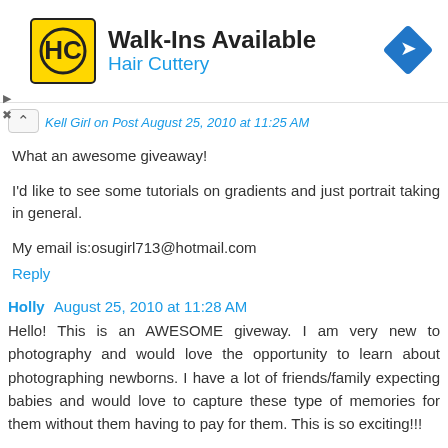[Figure (other): Hair Cuttery advertisement banner with logo, 'Walk-Ins Available' headline, and navigation arrow icon]
Kell Girl on Post August 25, 2010 at 11:25 AM
What an awesome giveaway!
I'd like to see some tutorials on gradients and just portrait taking in general.
My email is:osugirl713@hotmail.com
Reply
Holly August 25, 2010 at 11:28 AM
Hello! This is an AWESOME giveway. I am very new to photography and would love the opportunity to learn about photographing newborns. I have a lot of friends/family expecting babies and would love to capture these type of memories for them without them having to pay for them. This is so exciting!!!